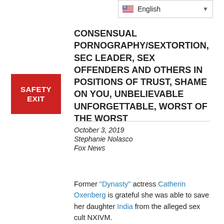[Figure (screenshot): Language selector dropdown showing English with US flag]
CONSENSUAL PORNOGRAPHY/SEXTORTION, SEC LEADER, SEX OFFENDERS AND OTHERS IN POSITIONS OF TRUST, SHAME ON YOU, UNBELIEVABLE UNFORGETTABLE, WORST OF THE WORST
October 3, 2019
Stephanie Nolasco
Fox News
Former "Dynasty" actress Catherin Oxenberg is grateful she was able to save her daughter India from the alleged sex cult NXIVM.